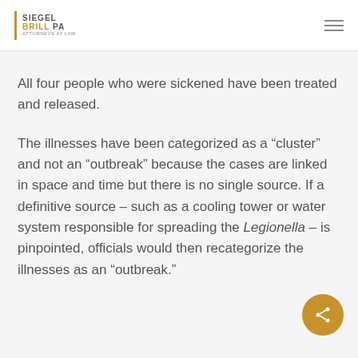SIEGEL BRILL PA ATTORNEYS AT LAW
All four people who were sickened have been treated and released.
The illnesses have been categorized as a “cluster” and not an “outbreak” because the cases are linked in space and time but there is no single source. If a definitive source – such as a cooling tower or water system responsible for spreading the Legionella – is pinpointed, officials would then recategorize the illnesses as an “outbreak.”